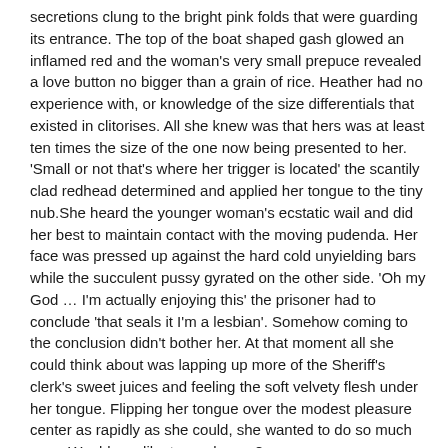secretions clung to the bright pink folds that were guarding its entrance. The top of the boat shaped gash glowed an inflamed red and the woman's very small prepuce revealed a love button no bigger than a grain of rice. Heather had no experience with, or knowledge of the size differentials that existed in clitorises. All she knew was that hers was at least ten times the size of the one now being presented to her. 'Small or not that's where her trigger is located' the scantily clad redhead determined and applied her tongue to the tiny nub.She heard the younger woman's ecstatic wail and did her best to maintain contact with the moving pudenda. Her face was pressed up against the hard cold unyielding bars while the succulent pussy gyrated on the other side. 'Oh my God … I'm actually enjoying this' the prisoner had to conclude 'that seals it I'm a lesbian'. Somehow coming to the conclusion didn't bother her. At that moment all she could think about was lapping up more of the Sheriff's clerk's sweet juices and feeling the soft velvety flesh under her tongue. Flipping her tongue over the modest pleasure center as rapidly as she could, she wanted to do so much more Would you like to read more? http://www.lulu.com/spotlight/bearcat22ENJOY the special pleasure